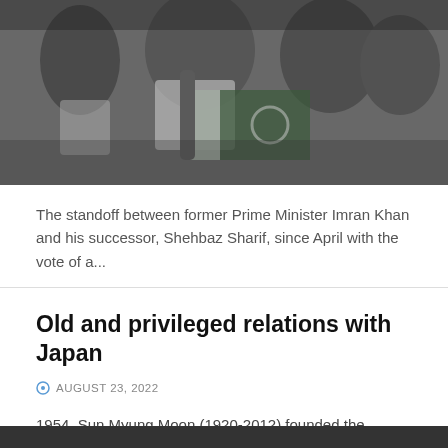[Figure (photo): Photo of people holding a flag, likely a political rally or protest scene with dark/muted tones]
The standoff between former Prime Minister Imran Khan and his successor, Shehbaz Sharif, since April with the vote of a...
Old and privileged relations with Japan
AUGUST 23, 2022
1954. Sun Myung Moon (1920-2012) founded the "Unification Church", better known as the "Moon sect", in Seoul.1965. Sun Myung Moon...